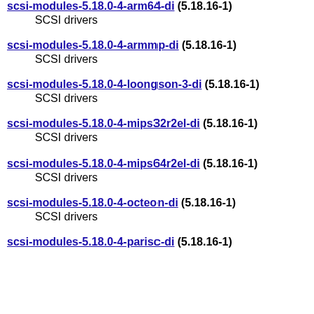scsi-modules-5.18.0-4-arm64-di (5.18.16-1)
    SCSI drivers
scsi-modules-5.18.0-4-armmp-di (5.18.16-1)
    SCSI drivers
scsi-modules-5.18.0-4-loongson-3-di (5.18.16-1)
    SCSI drivers
scsi-modules-5.18.0-4-mips32r2el-di (5.18.16-1)
    SCSI drivers
scsi-modules-5.18.0-4-mips64r2el-di (5.18.16-1)
    SCSI drivers
scsi-modules-5.18.0-4-octeon-di (5.18.16-1)
    SCSI drivers
scsi-modules-5.18.0-4-parisc-di (5.18.16-1)